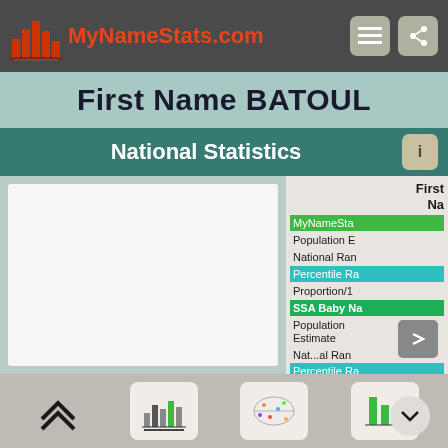MyNameStats.com
First Name BATOUL
National Statistics
[Figure (other): Empty chart panel placeholder (white/light gray rectangle)]
| First Name Stats |
| --- |
| MyNameSta... |
| Population E... |
| National Ran... |
| Percentile Ra... |
| Proportion/... |
| SSA Baby Na... |
| Population Estimate |
| National Ran... |
| Percentile Ra... |